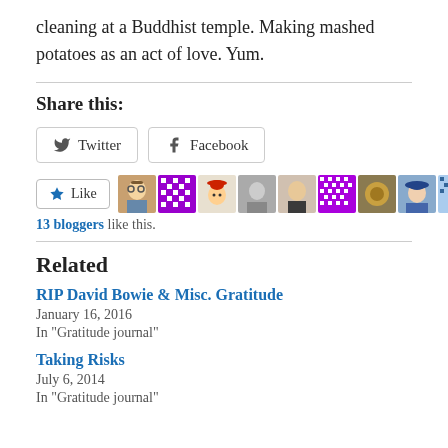cleaning at a Buddhist temple. Making mashed potatoes as an act of love. Yum.
Share this:
Twitter | Facebook (share buttons)
Like button with 13 blogger avatars. 13 bloggers like this.
Related
RIP David Bowie & Misc. Gratitude
January 16, 2016
In "Gratitude journal"
Taking Risks
July 6, 2014
In "Gratitude journal"